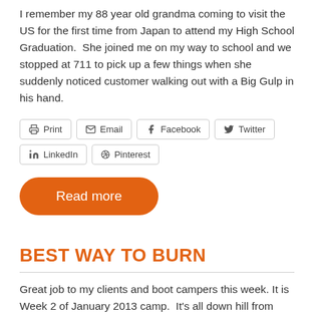I remember my 88 year old grandma coming to visit the US for the first time from Japan to attend my High School Graduation.  She joined me on my way to school and we stopped at 711 to pick up a few things when she suddenly noticed customer walking out with a Big Gulp in his hand.
Share buttons: Print, Email, Facebook, Twitter, LinkedIn, Pinterest
Read more
BEST WAY TO BURN
Great job to my clients and boot campers this week. It is Week 2 of January 2013 camp.  It's all down hill from